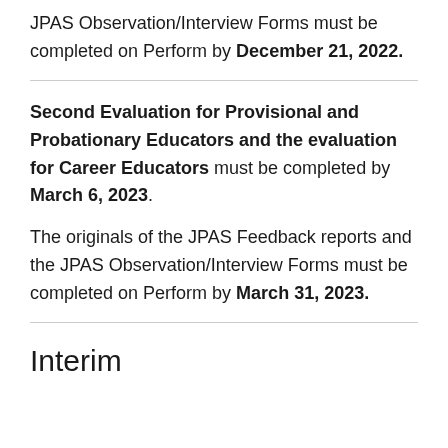JPAS Observation/Interview Forms must be completed on Perform by December 21, 2022.
Second Evaluation for Provisional and Probationary Educators and the evaluation for Career Educators must be completed by March 6, 2023.
The originals of the JPAS Feedback reports and the JPAS Observation/Interview Forms must be completed on Perform by March 31, 2023.
Interim